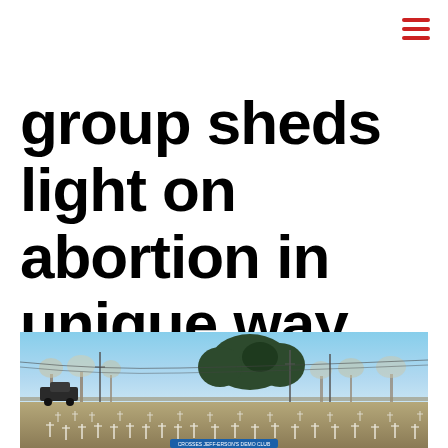group sheds light on abortion in unique way
[Figure (photo): A wide field covered with white crosses planted in rows, visible from a road. Trees and a blue sky with utility lines in the background. A blue sign reading something about crosses is visible at the bottom center. A dark truck on the left side.]